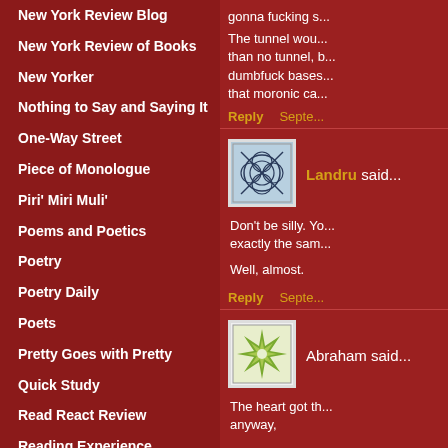New York Review Blog
New York Review of Books
New Yorker
Nothing to Say and Saying It
One-Way Street
Piece of Monologue
Piri' Miri Muli'
Poems and Poetics
Poetry
Poetry Daily
Poets
Pretty Goes with Pretty
Quick Study
Read React Review
Reading Experience
gonna fucking s...
The tunnel wou... than no tunnel, ... dumbfuck bases... that moronic ca...
Reply  Septe...
Landru said...
[Figure (illustration): Avatar image for Landru: geometric knotwork pattern on light blue background]
Don't be silly. Yo... exactly the sam...
Well, almost.
Reply  Septe...
Abraham said...
[Figure (illustration): Avatar image for Abraham: green starburst/flower pattern on white background]
The heart got th... anyway,